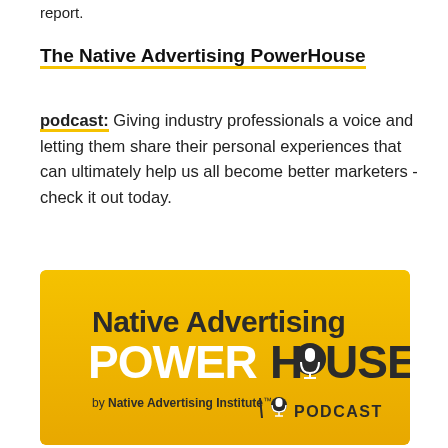report.
The Native Advertising PowerHouse
podcast: Giving industry professionals a voice and letting them share their personal experiences that can ultimately help us all become better marketers - check it out today.
[Figure (logo): Native Advertising PowerHouse Podcast logo on yellow/gold background by Native Advertising Institute]